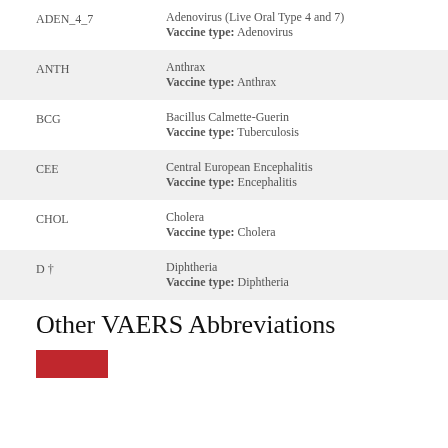ADEN_4_7 — Adenovirus (Live Oral Type 4 and 7)
Vaccine type: Adenovirus
ANTH — Anthrax
Vaccine type: Anthrax
BCG — Bacillus Calmette-Guerin
Vaccine type: Tuberculosis
CEE — Central European Encephalitis
Vaccine type: Encephalitis
CHOL — Cholera
Vaccine type: Cholera
D † — Diphtheria
Vaccine type: Diphtheria
Other VAERS Abbreviations